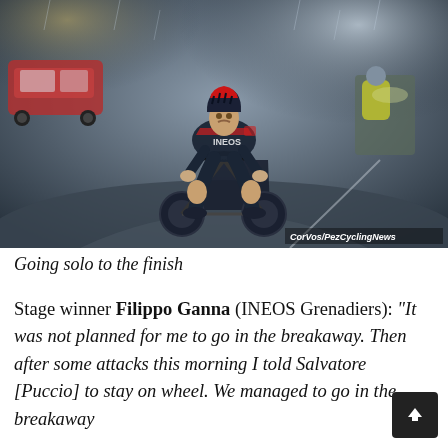[Figure (photo): Filippo Ganna of INEOS Grenadiers cycling solo in wet conditions toward the finish line, wearing a dark navy and red kit with a red helmet, team vehicles visible in background. Photo credit: CorVos/PezCyclingNews]
Going solo to the finish
Stage winner Filippo Ganna (INEOS Grenadiers): “It was not planned for me to go in the breakaway. Then after some attacks this morning I told Salvatore [Puccio] to stay on wheel. We managed to go in the breakaway